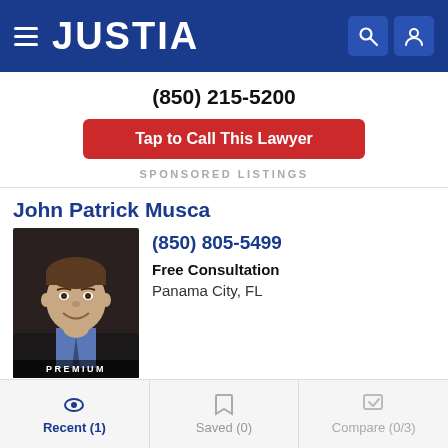JUSTIA
(850) 215-5200
Tap to Call This Lawyer
SPONSORED LISTINGS
John Patrick Musca
[Figure (photo): Headshot photo of John Patrick Musca, a man in a dark suit with a blue shirt. Photo labeled PREMIUM at the bottom.]
(850) 805-5499
Free Consultation
Panama City, FL
Website | Call | Email
Recent (1) | Saved (0) | Compare (0/3)